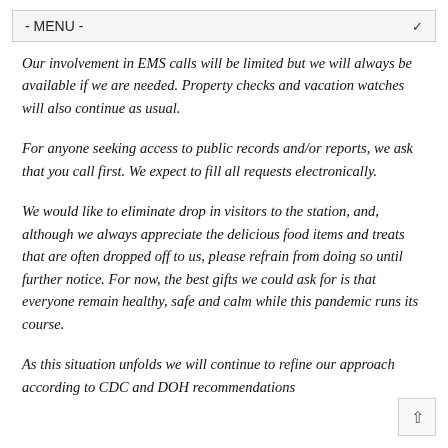- MENU -
Our involvement in EMS calls will be limited but we will always be available if we are needed. Property checks and vacation watches will also continue as usual.
For anyone seeking access to public records and/or reports, we ask that you call first. We expect to fill all requests electronically.
We would like to eliminate drop in visitors to the station, and, although we always appreciate the delicious food items and treats that are often dropped off to us, please refrain from doing so until further notice. For now, the best gifts we could ask for is that everyone remain healthy, safe and calm while this pandemic runs its course.
As this situation unfolds we will continue to refine our approach according to CDC and DOH recommendations